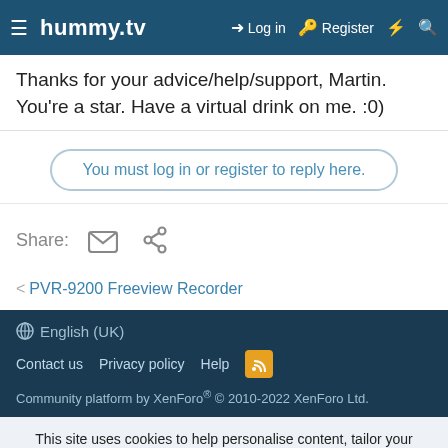hummy.tv — Log in | Register
Thanks for your advice/help/support, Martin. You're a star. Have a virtual drink on me. :0)
You must log in or register to reply here.
Share:
< PVR-9200 Freeview Recorder
English (UK) | Contact us | Privacy policy | Help | Community platform by XenForo® © 2010-2022 XenForo Ltd.
This site uses cookies to help personalise content, tailor your experience and to keep you logged in if you register. By continuing to use this site, you are consenting to our use of cookies.